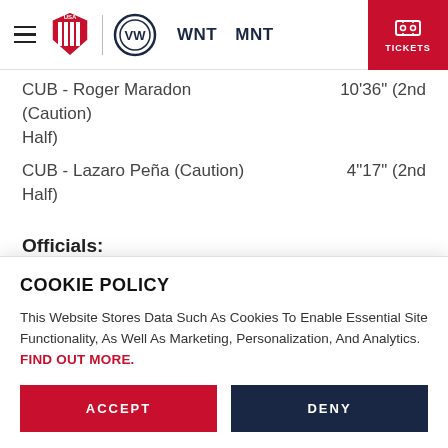USA Soccer | WNT | MNT | TICKETS
CUB - Roger Maradon (Caution) ... (2nd Half)
CUB - Lazaro Peña (Caution)    4"17" (2nd Half)
Officials:
1st Referee: Ronny Castro (CRC)
2nd Referee: Ricardo Lav (PAN)
COOKIE POLICY
This Website Stores Data Such As Cookies To Enable Essential Site Functionality, As Well As Marketing, Personalization, And Analytics. FIND OUT MORE.
ACCEPT
DENY